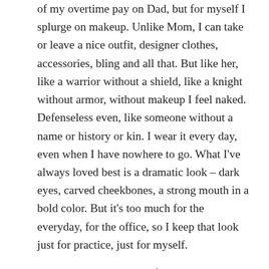of my overtime pay on Dad, but for myself I splurge on makeup. Unlike Mom, I can take or leave a nice outfit, designer clothes, accessories, bling and all that. But like her, like a warrior without a shield, like a knight without armor, without makeup I feel naked. Defenseless even, like someone without a name or history or kin. I wear it every day, even when I have nowhere to go. What I've always loved best is a dramatic look – dark eyes, carved cheekbones, a strong mouth in a bold color. But it's too much for the everyday, for the office, so I keep that look just for practice, just for myself.
But lately, as I get ready for work every morning, I've been playing up the drama, piling on the boldness, keeping a few images in mind. As I trace the shape of my eye with liner and gloss my lips, I think of the consultant